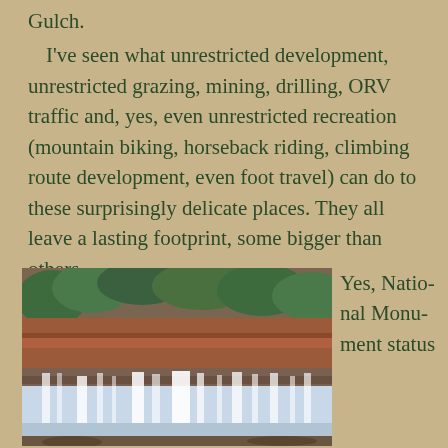Gulch.
I've seen what unrestricted development, unrestricted grazing, mining, drilling, ORV traffic and, yes, even unrestricted recreation (mountain biking, horseback riding, climbing route development, even foot travel) can do to these surprisingly delicate places.  They all leave a lasting footprint, some bigger than others.
[Figure (photo): A waterfall cascading over layered red rock formations with green trees and desert vegetation visible in the background. The water flows smoothly over the rock shelf creating multiple streams.]
Yes, National Monument status